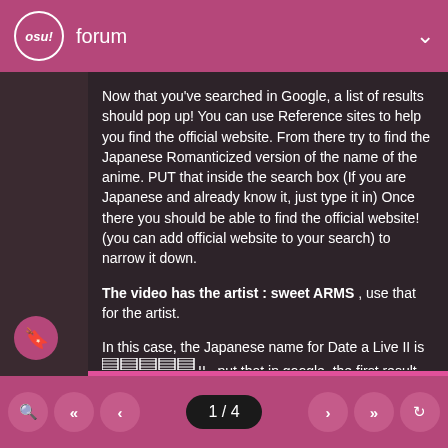osu! forum
Now that you've searched in Google, a list of results should pop up! You can use Reference sites to help you find the official website. From there try to find the Japanese Romanticized version of the name of the anime. PUT that inside the search box (If you are Japanese and already know it, just type it in) Once there you should be able to find the official website! (you can add official website to your search) to narrow it down.
The video has the artist : sweet ARMS , use that for the artist.
In this case, the Japanese name for Date a Live II is [Japanese characters]II , put that in google, the first result that shows up should be it , which is http://date-a-live-anime.com/
Look around and you should find it
1 / 4